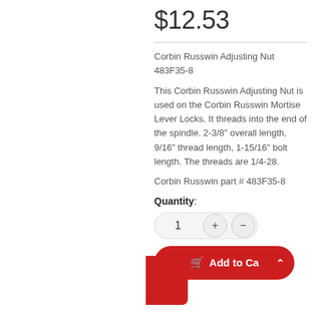$12.53
Corbin Russwin Adjusting Nut 483F35-8
This Corbin Russwin Adjusting Nut is used on the Corbin Russwin Mortise Lever Locks. It threads into the end of the spindle. 2-3/8" overall length, 9/16" thread length, 1-15/16" bolt length. The threads are 1/4-28.
Corbin Russwin part # 483F35-8
Quantity:
1
Add to Ca